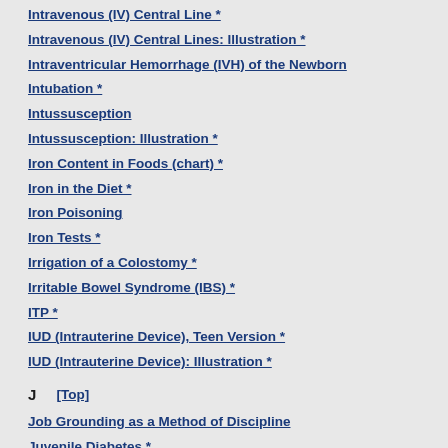Intravenous (IV) Central Line *
Intravenous (IV) Central Lines: Illustration *
Intraventricular Hemorrhage (IVH) of the Newborn
Intubation *
Intussusception
Intussusception: Illustration *
Iron Content in Foods (chart) *
Iron in the Diet *
Iron Poisoning
Iron Tests *
Irrigation of a Colostomy *
Irritable Bowel Syndrome (IBS) *
ITP *
IUD (Intrauterine Device), Teen Version *
IUD (Intrauterine Device): Illustration *
J  [Top]
Job Grounding as a Method of Discipline
Juvenile Diabetes *
Juvenile Idiopathic Arthritis
K  [Top]
Keratitis, Fungal *
Ketoacidosis, Diabetic *
Ketogenic Diet
Ketone Testing *
Kidney Cancer...